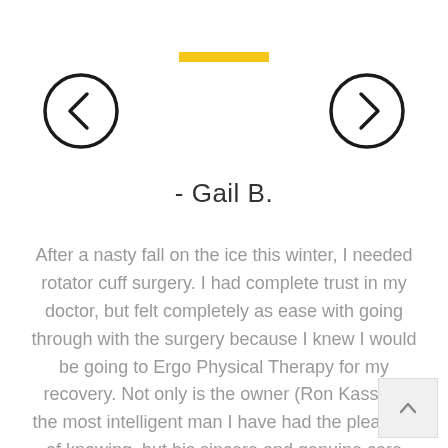[Figure (other): Yellow horizontal decorative bar]
[Figure (other): Left navigation arrow button (circle with < symbol)]
[Figure (other): Right navigation arrow button (circle with > symbol)]
- Gail B.
After a nasty fall on the ice this winter, I needed rotator cuff surgery. I had complete trust in my doctor, but felt completely as ease with going through with the surgery because I knew I would be going to Ergo Physical Therapy for my recovery. Not only is the owner (Ron Kassab) the most intelligent man I have had the pleasure of knowing, but his sincere and genuine care and concern for his patients comes through on the first